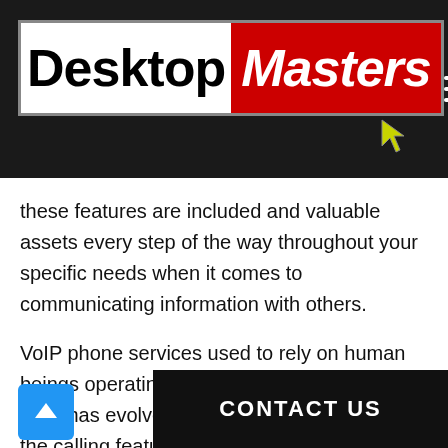[Figure (logo): DesktopMasters logo with white background for 'Desktop' in black bold text and red background for 'Masters' in white italic bold text, with a yellow cursor icon below, on a dark/black header bar with a hamburger menu icon on the right.]
these features are included and valuable assets every step of the way throughout your specific needs when it comes to communicating information with others.
VoIP phone services used to rely on human beings operating a switchboard. Nowadays, VoIP has evolved and now includes many of the calling features that were once e                    landline phones. The last your phone to ring off the hook while picking up